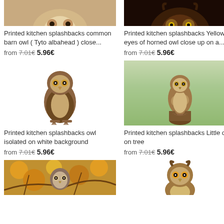[Figure (photo): Partial cropped photo of a barn owl head from above, warm beige/tan tones]
Printed kitchen splashbacks common barn owl ( Tyto albahead ) close...
from 7.01€ 5.96€
[Figure (photo): Partial cropped photo of a horned owl close up, dark brown/black tones]
Printed kitchen splashbacks Yellow eyes of horned owl close up on a...
from 7.01€ 5.96€
[Figure (photo): Photo of an owl isolated on white background, brown speckled feathers, standing facing forward]
Printed kitchen splashbacks owl isolated on white background
from 7.01€ 5.96€
[Figure (photo): Photo of a little owl perched on a tree stump, green background]
Printed kitchen splashbacks Little owl on tree
from 7.01€ 5.96€
[Figure (photo): Photo of an owl on autumn branches with yellow leaves]
[Figure (photo): Photo of a large brown eagle owl facing forward on white background]